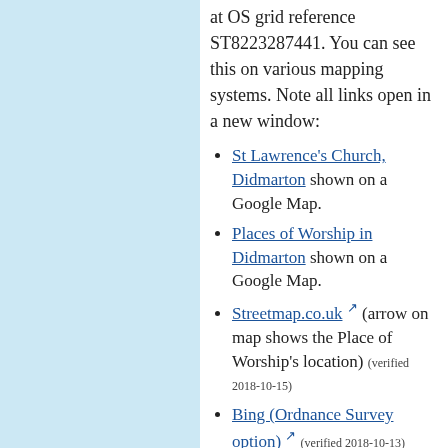at OS grid reference ST8223287441. You can see this on various mapping systems. Note all links open in a new window:
St Lawrence's Church, Didmarton shown on a Google Map.
Places of Worship in Didmarton shown on a Google Map.
Streetmap.co.uk (arrow on map shows the Place of Worship's location) (verified 2018-10-15)
Bing (Ordnance Survey option) (verified 2018-10-13)
Bing Maps ('Bird's Eye' View) (verified 2018-10-15)
Ordnance Survey "getamap" (NB some of the 'Change Map' options may require a subscription) (verified 2018-10-15)
OpenStreetMap (Maps ©